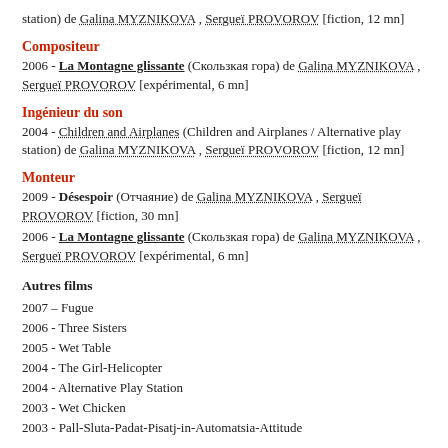station) de Galina MYZNIKOVA , Sergueï PROVOROV [fiction, 12 mn]
Compositeur
2006 - La Montagne glissante (Скользкая гора) de Galina MYZNIKOVA , Sergueï PROVOROV [expérimental, 6 mn]
Ingénieur du son
2004 - Children and Airplanes (Children and Airplanes / Alternative play station) de Galina MYZNIKOVA , Sergueï PROVOROV [fiction, 12 mn]
Monteur
2009 - Désespoir (Отчаяние) de Galina MYZNIKOVA , Sergueï PROVOROV [fiction, 30 mn]
2006 - La Montagne glissante (Скользкая гора) de Galina MYZNIKOVA , Sergueï PROVOROV [expérimental, 6 mn]
Autres films
2007 – Fugue
2006 - Three Sisters
2005 - Wet Table
2004 - The Girl-Helicopter
2004 - Alternative Play Station
2003 - Wet Chicken
2003 - Pall-Sluta-Padat-Pisatj-in-Automatsia-Attitude